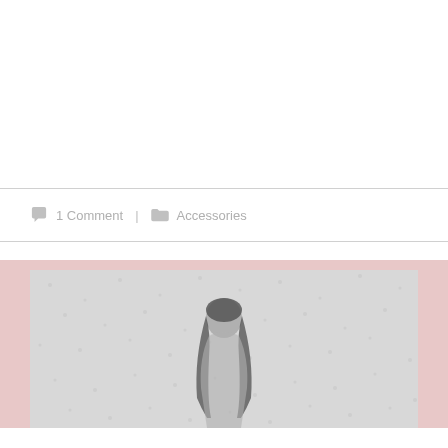1 Comment  |  Accessories
[Figure (photo): Fashion photo showing a woman with long dark hair against a light speckled background, framed within a pink/blush colored panel]